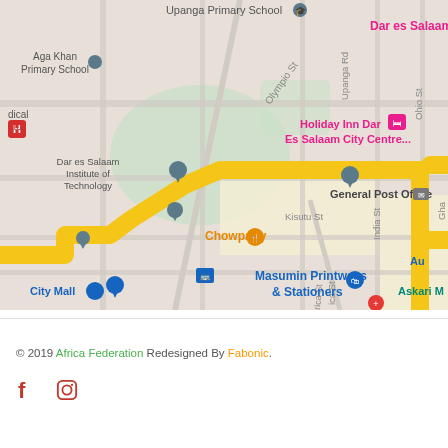[Figure (map): Google Maps screenshot showing Dar es Salaam city centre area with highlighted route in yellow/gold. Landmarks visible include: Upanga Primary School, Aga Khan Primary School, Dar es Salaam Institute of Technology, Holiday Inn Dar Es Salaam City Centre, Dar es Salaam Serena, General Post Office, Chowpatty restaurant, Masumin Printways & Stationers, City Mall, Kisutu St, India St, Upanga Rd, Ohio St, Olympio St, America St. Hospital and shopping icons visible.]
© 2019 Africa Federation Redesigned By Fabonic.
[Figure (logo): Facebook icon (f) in red/dark color and Instagram icon in red/dark color]